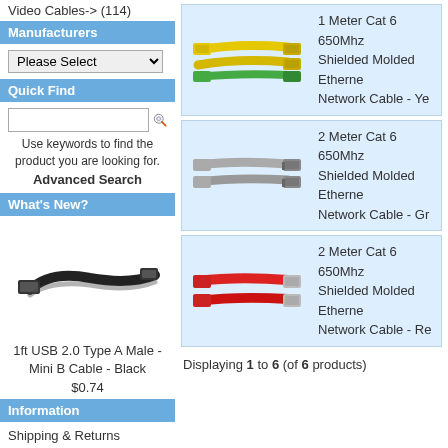Video Cables-> (114)
Manufacturers
Please Select
Quick Find
Use keywords to find the product you are looking for.
Advanced Search
What's New?
[Figure (photo): 1ft USB 2.0 Type A Male - Mini B Cable - Black]
1ft USB 2.0 Type A Male - Mini B Cable - Black
$0.74
Information
Shipping & Returns
Privacy Notice
Conditions of Use
Contact Us
We Accept
[Figure (photo): 1 Meter Cat 6 650Mhz Shielded Molded Ethernet Network Cable - Yellow]
1 Meter Cat 6 650Mhz Shielded Molded Ethernet Network Cable - Ye
[Figure (photo): 2 Meter Cat 6 650Mhz Shielded Molded Ethernet Network Cable - Grey]
2 Meter Cat 6 650Mhz Shielded Molded Ethernet Network Cable - Gr
[Figure (photo): 2 Meter Cat 6 650Mhz Shielded Molded Ethernet Network Cable - Red]
2 Meter Cat 6 650Mhz Shielded Molded Ethernet Network Cable - Re
Displaying 1 to 6 (of 6 products)